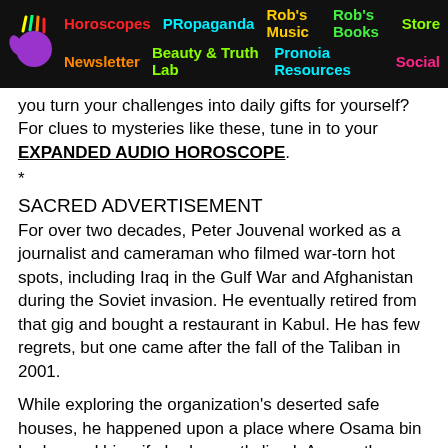Horoscopes | PRopaganda | Rob's Music | Rob's Books | Store | Newsletter | Beauty & Truth Lab | Pronoia Resources | Social
you turn your challenges into daily gifts for yourself? For clues to mysteries like these, tune in to your EXPANDED AUDIO HOROSCOPE.
*
SACRED ADVERTISEMENT
For over two decades, Peter Jouvenal worked as a journalist and cameraman who filmed war-torn hot spots, including Iraq in the Gulf War and Afghanistan during the Soviet invasion. He eventually retired from that gig and bought a restaurant in Kabul. He has few regrets, but one came after the fall of the Taliban in 2001.
While exploring the organization's deserted safe houses, he happened upon a place where Osama bin Laden and his wife had recently lived. Among the items the couple left behind was one of her bras. In retrospect Jouvenal realized he should have collected the remaining items of lingerie...